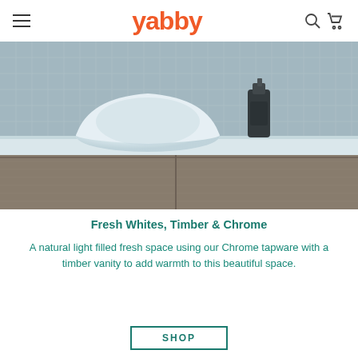yabby — navigation bar with hamburger menu, logo, search and cart icons
[Figure (photo): Bathroom vanity photo showing a white vessel sink on a white benchtop, with a timber cabinet below and grey mosaic tiles in background, plus a dark soap dispenser bottle]
Fresh Whites, Timber & Chrome
A natural light filled fresh space using our Chrome tapware with a timber vanity to add warmth to this beautiful space.
SHOP